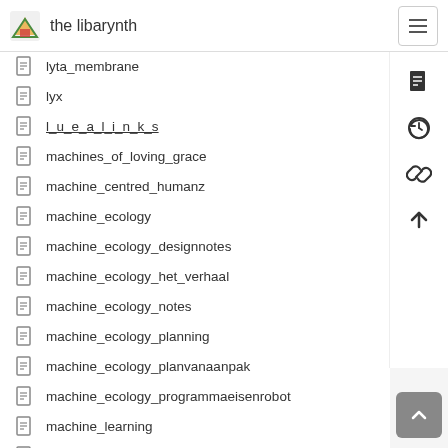the libarynth
lyta_membrane
lyx
l_u_e_a_l_i_n_k_s
machines_of_loving_grace
machine_centred_humanz
machine_ecology
machine_ecology_designnotes
machine_ecology_het_verhaal
machine_ecology_notes
machine_ecology_planning
machine_ecology_planvanaanpak
machine_ecology_programmaeisenrobot
machine_learning
machine_listening
machine_wilderness
machine_wilderness_driessens_verstappen
machine_wilderness_feedback
machine_wilderness_glossary